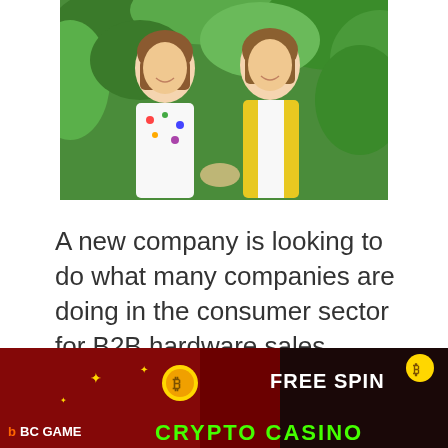[Figure (photo): Two women smiling and posing together in front of green foliage. The woman on the left wears a white top with colorful print. The woman on the right wears a yellow blazer over a white blouse.]
A new company is looking to do what many companies are doing in the consumer sector for B2B hardware sales, ...
[Figure (illustration): Advertisement banner for BC GAME crypto casino with dark red background, bitcoin symbol, stars, FREE SPIN text in white, and CRYPTO CASINO text in green.]